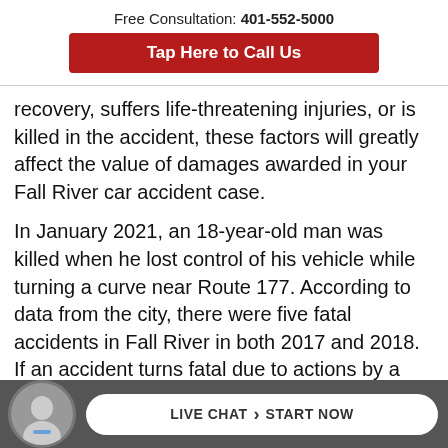Free Consultation: 401-552-5000
Tap Here to Call Us
recovery, suffers life-threatening injuries, or is killed in the accident, these factors will greatly affect the value of damages awarded in your Fall River car accident case.
In January 2021, an 18-year-old man was killed when he lost control of his vehicle while turning a curve near Route 177. According to data from the city, there were five fatal accidents in Fall River in both 2017 and 2018. If an accident turns fatal due to actions by a negli...
LIVE CHAT  START NOW